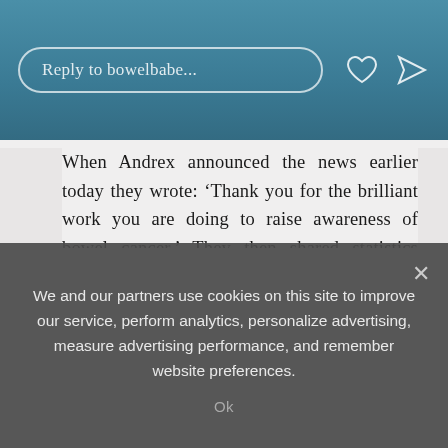[Figure (screenshot): Mobile app UI showing a reply input bar with placeholder text 'Reply to bowelbabe...' and heart and send icons on a blue-teal gradient background]
When Andrex announced the news earlier today they wrote: ‘Thank you for the brilliant work you are doing to raise awareness of bowel cancer.’ They then shared statistics about the cancer, revealing that the packs will appear on supermarket shelves from September
Dan Howell, VP and Managing Director at Kimberly-Clark said of the partnership: ‘We’re incredibly honoured to partner with Bowel Cancer UK in helping to raise awareness of the disease through our Andrex brand.
‘Bowel cancer is the fourth most common cancer in the UK
We and our partners use cookies on this site to improve our service, perform analytics, personalize advertising, measure advertising performance, and remember website preferences.